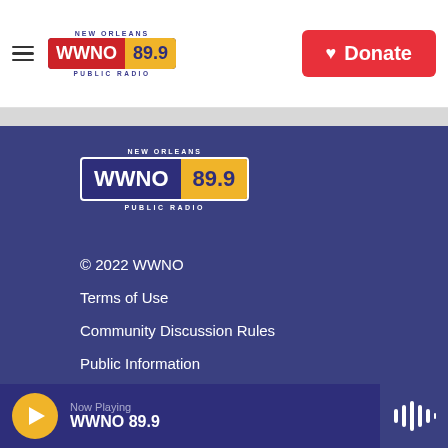[Figure (logo): WWNO 89.9 New Orleans Public Radio logo in header]
Donate
[Figure (logo): WWNO 89.9 New Orleans Public Radio logo in footer]
© 2022 WWNO
Terms of Use
Community Discussion Rules
Public Information
Public Service Announcements
Now Playing WWNO 89.9